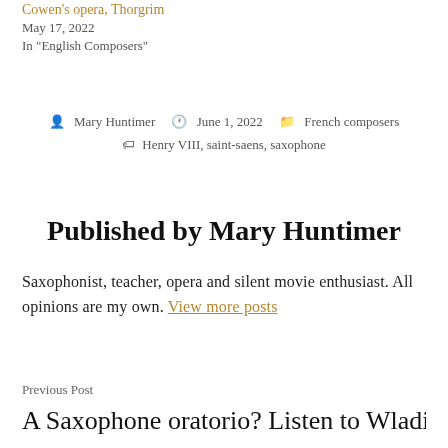Cowen's opera, Thorgrim
May 17, 2022
In "English Composers"
By Mary Huntimer   June 1, 2022   French composers
Henry VIII, saint-saens, saxophone
Published by Mary Huntimer
Saxophonist, teacher, opera and silent movie enthusiast. All opinions are my own. View more posts
Previous Post
A Saxophone oratorio? Listen to Wladimir